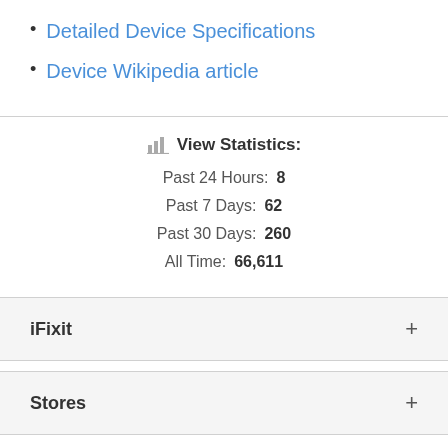Detailed Device Specifications
Device Wikipedia article
View Statistics:
Past 24 Hours: 8
Past 7 Days: 62
Past 30 Days: 260
All Time: 66,611
iFixit
Stores